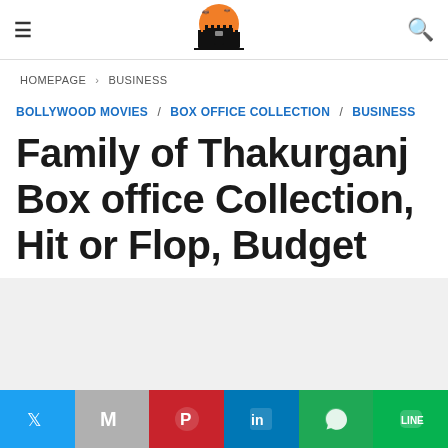≡  [Logo: Castle with orange moon]  🔍
HOMEPAGE › BUSINESS
BOLLYWOOD MOVIES / BOX OFFICE COLLECTION / BUSINESS
Family of Thakurganj Box office Collection, Hit or Flop, Budget